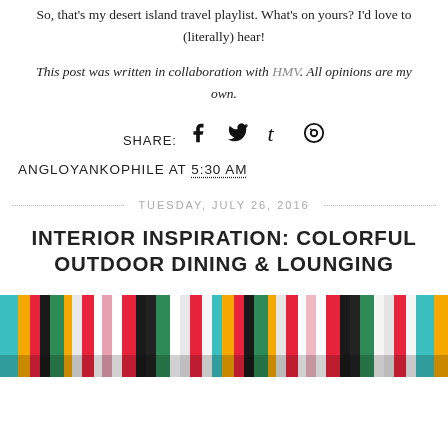So, that's my desert island travel playlist. What's on yours? I'd love to (literally) hear!
This post was written in collaboration with HMV. All opinions are my own.
SHARE:
ANGLOYANKOPHILE AT 5:30 AM
TUESDAY, JULY 26, 2016
INTERIOR INSPIRATION: COLORFUL OUTDOOR DINING & LOUNGING
[Figure (photo): Colorful striped fabric/cushions with bright multicolor vertical stripes including red, green, black, yellow, teal, orange, white, and pink.]